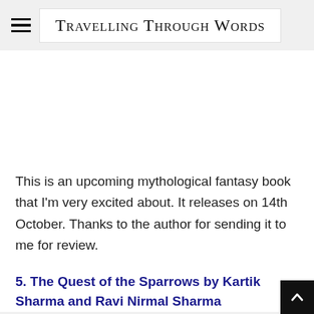Travelling Through Words
This is an upcoming mythological fantasy book that I'm very excited about. It releases on 14th October. Thanks to the author for sending it to me for review.
5. The Quest of the Sparrows by Kartik Sharma and Ravi Nirmal Sharma